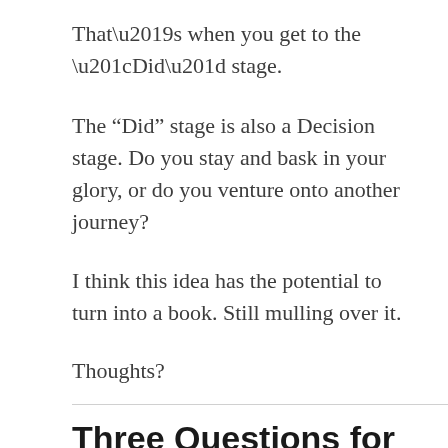That’s when you get to the “Did” stage.
The “Did” stage is also a Decision stage. Do you stay and bask in your glory, or do you venture onto another journey?
I think this idea has the potential to turn into a book. Still mulling over it.
Thoughts?
Three Questions for Personal Growth